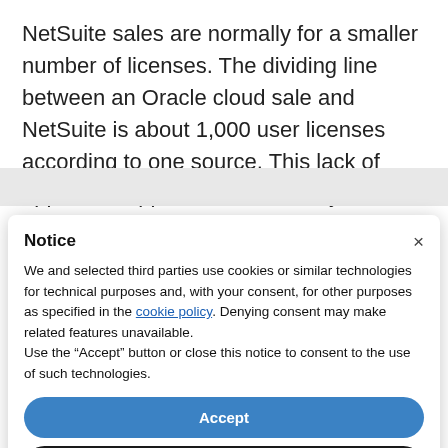NetSuite sales are normally for a smaller number of licenses. The dividing line between an Oracle cloud sale and NetSuite is about 1,000 user licenses according to one source. This lack of apparent support for NetSuite by the existing
Notice
We and selected third parties use cookies or similar technologies for technical purposes and, with your consent, for other purposes as specified in the cookie policy. Denying consent may make related features unavailable.
Use the “Accept” button or close this notice to consent to the use of such technologies.